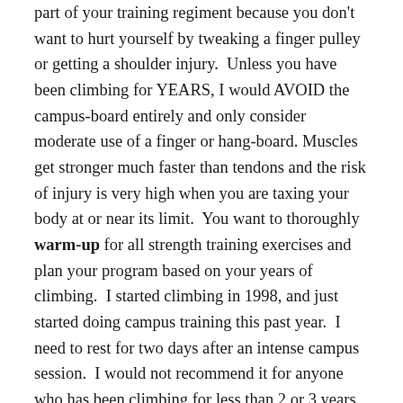part of your training regiment because you don't want to hurt yourself by tweaking a finger pulley or getting a shoulder injury. Unless you have been climbing for YEARS, I would AVOID the campus-board entirely and only consider moderate use of a finger or hang-board. Muscles get stronger much faster than tendons and the risk of injury is very high when you are taxing your body at or near its limit. You want to thoroughly warm-up for all strength training exercises and plan your program based on your years of climbing. I started climbing in 1998, and just started doing campus training this past year. I need to rest for two days after an intense campus session. I would not recommend it for anyone who has been climbing for less than 2 or 3 years.
To determine your strength training plan, you need to assess where you currently are. What level bouldering do